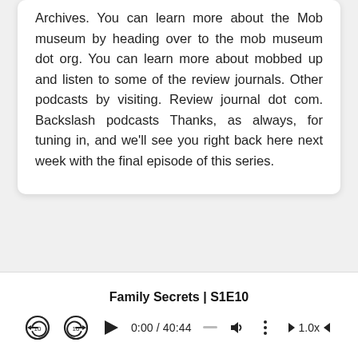Archives. You can learn more about the Mob museum by heading over to the mob museum dot org. You can learn more about mobbed up and listen to some of the review journals. Other podcasts by visiting. Review journal dot com. Backslash podcasts Thanks, as always, for tuning in, and we'll see you right back here next week with the final episode of this series.
Family Secrets | S1E10
[Figure (other): Podcast audio player controls showing: rewind 10s, forward 10s, play button, time display 0:00 / 40:44, progress bar dash, volume icon, more options icon, back speed, 1.0x speed, forward speed]